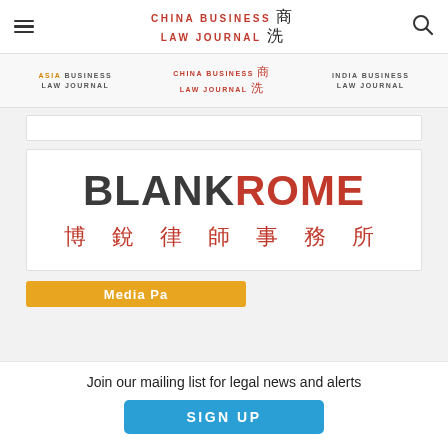CHINA BUSINESS LAW JOURNAL [Chinese characters] (hamburger menu + search icon)
[Figure (logo): Navigation bar with Asia Business Law Journal, China Business Law Journal, India Business Law Journal logos]
[Figure (logo): Blank Rome 博銳律師事務所 law firm logo in white box]
Join our mailing list for legal news and alerts
SIGN UP